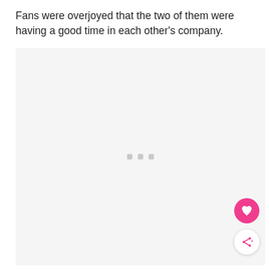Fans were overjoyed that the two of them were having a good time in each other's company.
[Figure (photo): A large image placeholder area with a light gray background and three small gray loading indicator squares in the center. A pink heart favorite button and a white share button are overlaid in the bottom-right corner.]